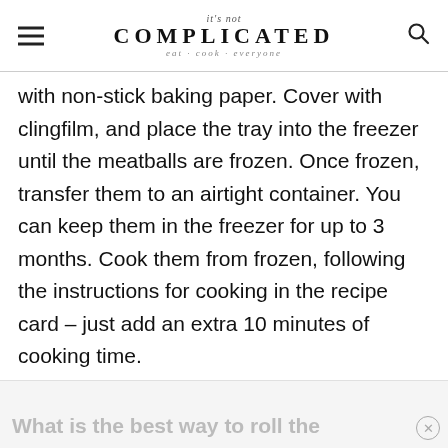it's not COMPLICATED eat cook everyone
with non-stick baking paper. Cover with clingfilm, and place the tray into the freezer until the meatballs are frozen. Once frozen, transfer them to an airtight container. You can keep them in the freezer for up to 3 months. Cook them from frozen, following the instructions for cooking in the recipe card – just add an extra 10 minutes of cooking time.
What is the best way to roll the